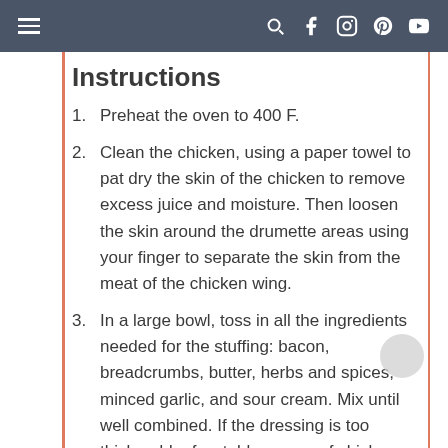Navigation bar with hamburger menu and social icons
Instructions
1. Preheat the oven to 400 F.
2. Clean the chicken, using a paper towel to pat dry the skin of the chicken to remove excess juice and moisture. Then loosen the skin around the drumette areas using your finger to separate the skin from the meat of the chicken wing.
3. In a large bowl, toss in all the ingredients needed for the stuffing: bacon, breadcrumbs, butter, herbs and spices, minced garlic, and sour cream. Mix until well combined. If the dressing is too thick, add a few tablespoons of chicken broth to loosen up the stuffing to desired consistency.
4. Stuff the chicken wings on the drumette...